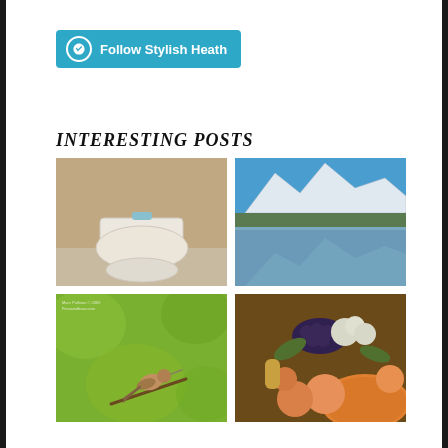[Figure (other): WordPress Follow button for 'Stylish Heath' — teal/cyan button with WordPress logo icon on left and bold white text 'Follow Stylish Heath']
INTERESTING POSTS
[Figure (photo): Photo of a white toilet from above, in a beige/tan bathroom, with a small blue object on the tank lid]
[Figure (photo): Photo of a snow-capped mountain reflected in a calm lake with blue sky]
[Figure (photo): Photo of a hummingbird perched on a branch against a green bokeh background]
[Figure (photo): Classical still life painting of fruits and flowers — peaches, melon, grapes, and white flowers in a decorative arrangement]